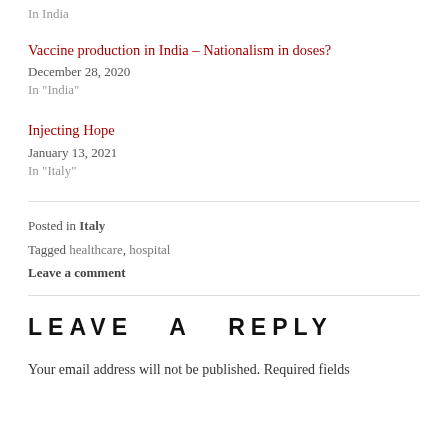In  India
Vaccine production in India – Nationalism in doses?
December 28, 2020
In "India"
Injecting Hope
January 13, 2021
In "Italy"
Posted in Italy
Tagged healthcare, hospital
Leave a comment
LEAVE A REPLY
Your email address will not be published. Required fields